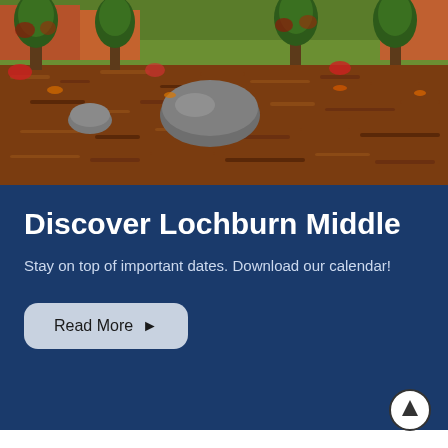[Figure (photo): Outdoor garden area of Lochburn Middle school with trees, large rocks, mulch ground cover, and green lawn in background]
Discover Lochburn Middle
Stay on top of important dates. Download our calendar!
Read More ▶